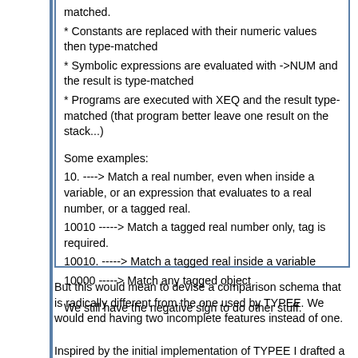matched.
* Constants are replaced with their numeric values then type-matched
* Symbolic expressions are evaluated with ->NUM and the result is type-matched
* Programs are executed with XEQ and the result type-matched (that program better leave one result on the stack...)

Some examples:
10. ----> Match a real number, even when inside a variable, or an expression that evaluates to a real number, or a tagged real.
10010 -----> Match a tagged real number only, tag is required.
10010. -----> Match a tagged real inside a variable
10000 -----> Match any tagged object

We still have the negative sign to do other stuff.
But this would mean to devise a comparison schema that is radically different from the one used by TYPEE. We would end having two incomplete features instead of one.
Inspired by the initial implementation of TYPEE I drafted a proposal that can be adapted to all object types and it's based on the principle that each property is encoded by a decimal digit different from zero. The zero being a wildcard when the extended